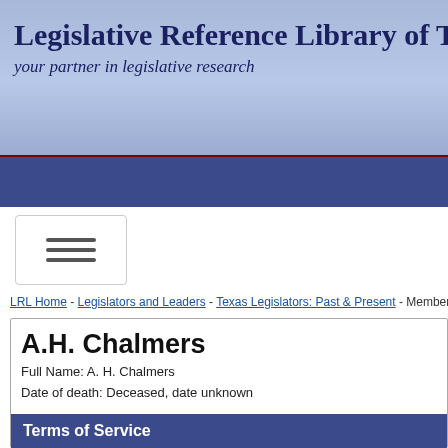Legislative Reference Library of Texas
your partner in legislative research
LRL Home - Legislators and Leaders - Texas Legislators: Past & Present - Member profile
A.H. Chalmers
Full Name: A. H. Chalmers
Date of death: Deceased, date unknown
Terms of Service
| Chamber | District | Dates of Service | Legislatures Pa |
| --- | --- | --- | --- |
| H | 56 | Nov 4, 1861 - Feb 16, 1862 | 9th (1) |